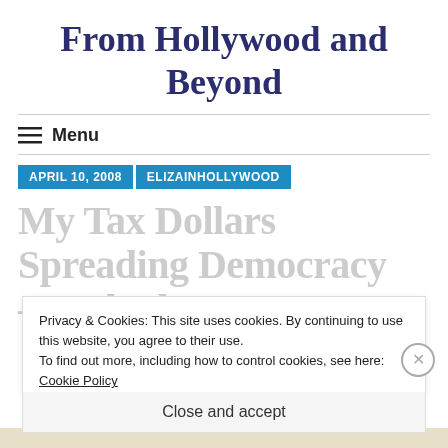From Hollywood and Beyond
Menu
APRIL 10, 2008   ELIZAINHOLLYWOOD
My Tax Dollars Spreading Democracy — Whether I
Privacy & Cookies: This site uses cookies. By continuing to use this website, you agree to their use. To find out more, including how to control cookies, see here: Cookie Policy
Close and accept